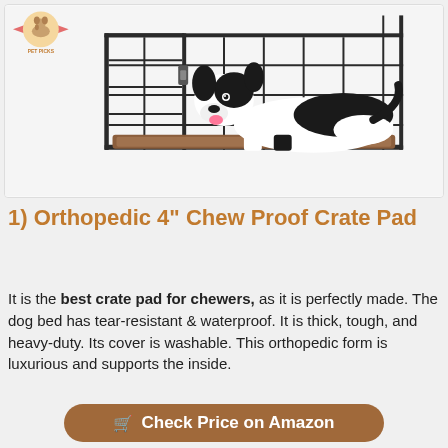[Figure (photo): A black and white dog lying inside an open wire dog crate on a brown orthopedic crate pad. A small pet brand logo with a dog and ribbon is visible in the top-left corner of the image.]
1) Orthopedic 4" Chew Proof Crate Pad
It is the best crate pad for chewers, as it is perfectly made. The dog bed has tear-resistant & waterproof. It is thick, tough, and heavy-duty. Its cover is washable. This orthopedic form is luxurious and supports the inside.
Check Price on Amazon